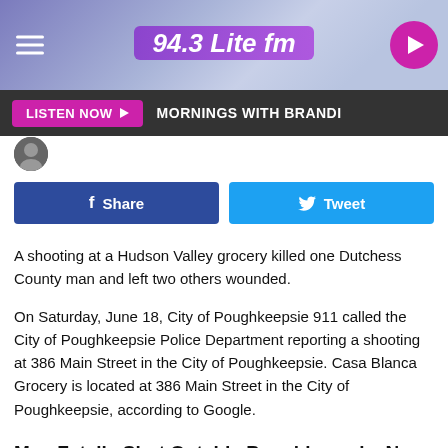[Figure (screenshot): 94.3 Lite fm radio station header banner with purple/blue gradient background, hamburger menu icon on left, station logo '94.3 Lite fm' centered, play button circle on right in pink/magenta]
LISTEN NOW ▶   MORNINGS WITH BRANDI
[Figure (screenshot): Partial avatar/profile image circle at left]
[Figure (screenshot): Facebook Share button (dark blue) and Twitter Tweet button (light blue) side by side]
A shooting at a Hudson Valley grocery killed one Dutchess County man and left two others wounded.
On Saturday, June 18, City of Poughkeepsie 911 called the City of Poughkeepsie Police Department reporting a shooting at 386 Main Street in the City of Poughkeepsie. Casa Blanca Grocery is located at 386 Main Street in the City of Poughkeepsie, according to Google.
Man Fatally Shot Outside Poughkeepsie, New York